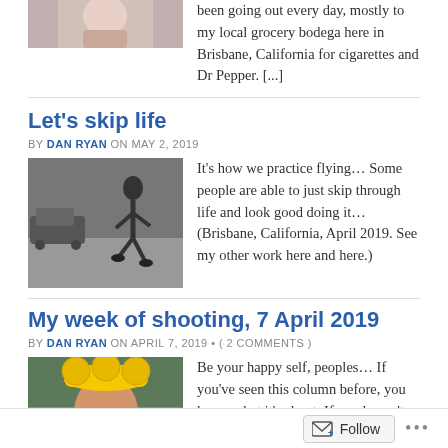[Figure (photo): Partial thumbnail photo of a person, cropped at top of page]
been going out every day, mostly to my local grocery bodega here in Brisbane, California for cigarettes and Dr Pepper. [...]
Let's skip life
BY DAN RYAN ON MAY 2, 2019
[Figure (photo): Black and white photo of a person skipping/jumping on a street]
It's how we practice flying... Some people are able to just skip through life and look good doing it... (Brisbane, California, April 2019. See my other work here and here.)
My week of shooting, 7 April 2019
BY DAN RYAN ON APRIL 7, 2019 • ( 2 COMMENTS )
[Figure (photo): Photo of a woman wearing a large yellow hat shaped like a cartoon character]
Be your happy self, peoples... If you've seen this column before, you know what it's about. If you haven't, you'll figure it out quickly. So I'm just going to get right to [...]
My week of shooting, 24 March 2019
Follow ...